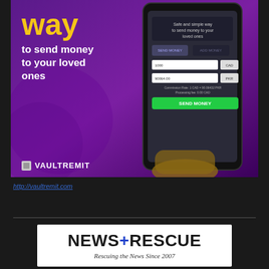[Figure (photo): VaultRemit advertisement banner showing a hand holding a smartphone with money transfer app interface. Purple/violet background with yellow bold 'way' text, white tagline 'to send money to your loved ones', and VaultRemit logo at bottom left.]
http://vaultremit.com
[Figure (logo): News+Rescue logo in a white box. Large bold text 'NEWS+RESCUE' with blue plus sign, subtitle 'Rescuing the News Since 2007' in italic serif.]